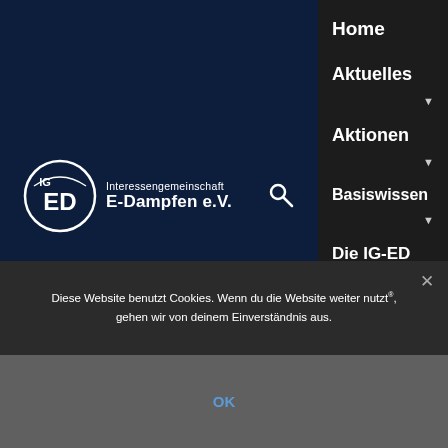[Figure (logo): IG-ED Interessengemeinschaft E-Dampfen e.V. circular logo with text]
Home
Aktuelles
▼
Aktionen
▼
Basiswissen
▼
Die IG-ED
Diese Website benutzt Cookies. Wenn du die Website weiter nutzt, gehen wir von deinem Einverständnis aus.
OK